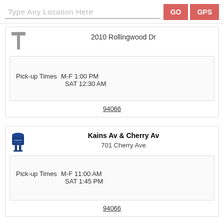Type Any Location Here
GO
GPS
2010 Rollingwood Dr
Pick-up Times  M-F 1:00 PM  SAT 12:30 AM
94066
Kains Av & Cherry Av
701 Cherry Ave
Pick-up Times  M-F 11:00 AM  SAT 1:45 PM
94066